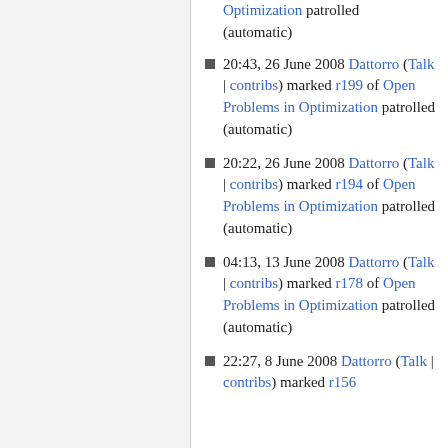Optimization patrolled (automatic) [top fragment]
20:43, 26 June 2008 Dattorro (Talk | contribs) marked r199 of Open Problems in Optimization patrolled (automatic)
20:22, 26 June 2008 Dattorro (Talk | contribs) marked r194 of Open Problems in Optimization patrolled (automatic)
04:13, 13 June 2008 Dattorro (Talk | contribs) marked r178 of Open Problems in Optimization patrolled (automatic)
22:27, 8 June 2008 Dattorro (Talk | contribs) marked r156